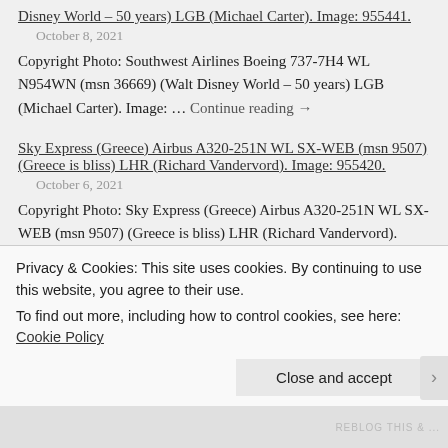Disney World – 50 years) LGB (Michael Carter). Image: 955441.
October 8, 2021
Copyright Photo: Southwest Airlines Boeing 737-7H4 WL N954WN (msn 36669) (Walt Disney World – 50 years) LGB (Michael Carter). Image: … Continue reading →
Sky Express (Greece) Airbus A320-251N WL SX-WEB (msn 9507) (Greece is bliss) LHR (Richard Vandervord). Image: 955420.
October 6, 2021
Copyright Photo: Sky Express (Greece) Airbus A320-251N WL SX-WEB (msn 9507) (Greece is bliss) LHR (Richard Vandervord). Image: 955420.
S7 Cargo (S7 Airlines) Boeing 737-86L (BCF) WL VB-BEN (msn 32917)
Privacy & Cookies: This site uses cookies. By continuing to use this website, you agree to their use.
To find out more, including how to control cookies, see here: Cookie Policy
Close and accept